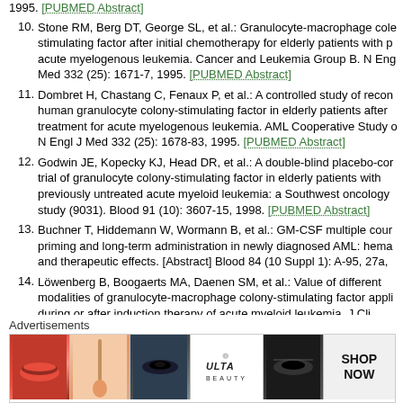1995. [PUBMED Abstract]
10. Stone RM, Berg DT, George SL, et al.: Granulocyte-macrophage colony-stimulating factor after initial chemotherapy for elderly patients with primary acute myelogenous leukemia. Cancer and Leukemia Group B. N Engl J Med 332 (25): 1671-7, 1995. [PUBMED Abstract]
11. Dombret H, Chastang C, Fenaux P, et al.: A controlled study of recombinant human granulocyte colony-stimulating factor in elderly patients after treatment for acute myelogenous leukemia. AML Cooperative Study Group. N Engl J Med 332 (25): 1678-83, 1995. [PUBMED Abstract]
12. Godwin JE, Kopecky KJ, Head DR, et al.: A double-blind placebo-controlled trial of granulocyte colony-stimulating factor in elderly patients with previously untreated acute myeloid leukemia: a Southwest oncology group study (9031). Blood 91 (10): 3607-15, 1998. [PUBMED Abstract]
13. Buchner T, Hiddemann W, Wormann B, et al.: GM-CSF multiple course priming and long-term administration in newly diagnosed AML: hematologic and therapeutic effects. [Abstract] Blood 84 (10 Suppl 1): A-95, 27a,
14. Löwenberg B, Boogaerts MA, Daenen SM, et al.: Value of different modalities of granulocyte-macrophage colony-stimulating factor applied during or after induction therapy of acute myeloid leukemia. J Cli
Advertisements